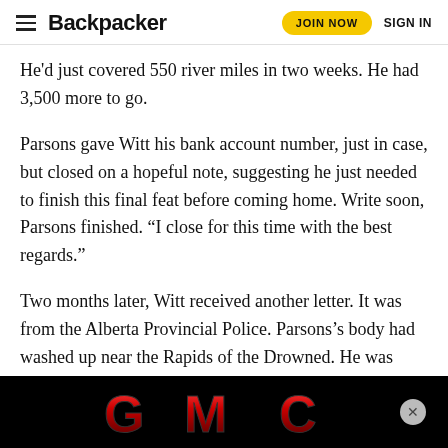Backpacker | JOIN NOW  SIGN IN
He’d just covered 550 river miles in two weeks. He had 3,500 more to go.
Parsons gave Witt his bank account number, just in case, but closed on a hopeful note, suggesting he just needed to finish this final feat before coming home. Write soon, Parsons finished. “I close for this time with the best regards.”
Two months later, Witt received another letter. It was from the Alberta Provincial Police. Parsons’s body had washed up near the Rapids of the Drowned. He was found 800 miles downstream from Peace River Crossing. Witt’s address was in his wallet.
[Figure (logo): GMC logo advertisement banner on black background]